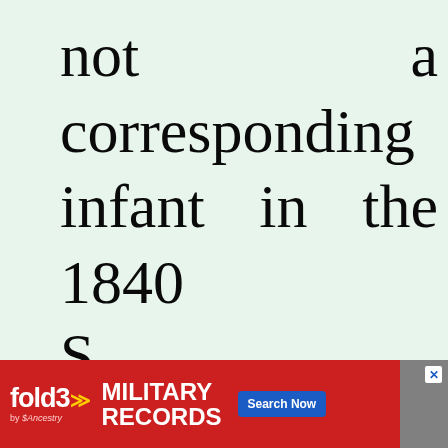not a corresponding infant in the 1840 census. Will of S
[Figure (other): fold3 by Ancestry advertisement banner for Military Records with Search Now button]